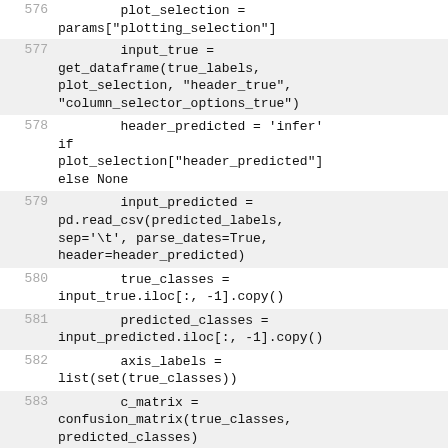576   plot_selection = params["plotting_selection"]
577   input_true = get_dataframe(true_labels, plot_selection, "header_true", "column_selector_options_true")
578   header_predicted = 'infer' if plot_selection["header_predicted"] else None
579   input_predicted = pd.read_csv(predicted_labels, sep='\t', parse_dates=True, header=header_predicted)
580   true_classes = input_true.iloc[:, -1].copy()
581   predicted_classes = input_predicted.iloc[:, -1].copy()
582   axis_labels = list(set(true_classes))
583   c_matrix = confusion_matrix(true_classes, predicted_classes)
584   fig, ax = plt.subplots(figsize=(7, 7))
585   im = plt.imshow(c_matrix, cmap=plot_color)
586   for i in range(len(c_matrix)):
587   for j in range(len(c_matrix)):